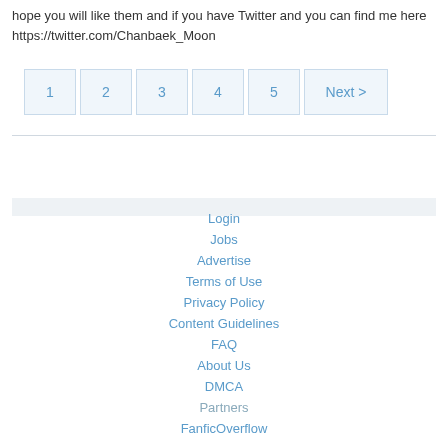hope you will like them and if you have Twitter and you can find me here https://twitter.com/Chanbaek_Moon
1
2
3
4
5
Next >
Login
Jobs
Advertise
Terms of Use
Privacy Policy
Content Guidelines
FAQ
About Us
DMCA
Partners
FanficOverflow